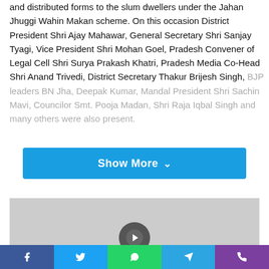and distributed forms to the slum dwellers under the Jahan Jhuggi Wahin Makan scheme. On this occasion District President Shri Ajay Mahawar, General Secretary Shri Sanjay Tyagi, Vice President Shri Mohan Goel, Pradesh Convener of Legal Cell Shri Surya Prakash Khatri, Pradesh Media Co-Head Shri Anand Trivedi, District Secretary Thakur Brijesh Singh, BJP leaders BN Jha, Deepak Kumar, Mandal President Shri Sachin Mavi, Councilor Smt. Pooja Madan, Shri Raja Iqbal Singh and many others were also present.
[Figure (other): Show More button in blue]
[Figure (photo): Gray image placeholder with a circular play/check icon]
[Figure (other): Social sharing bar with Facebook, Twitter, WhatsApp, Telegram, and phone/viber icons]